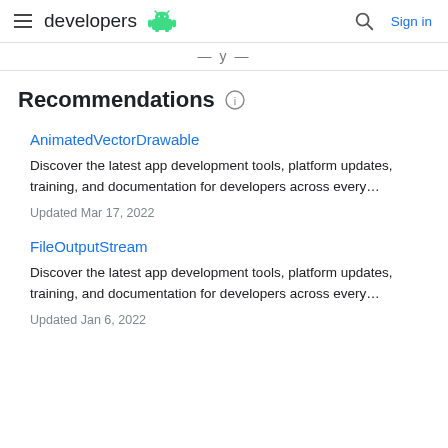developers (Android logo) | Search | Sign in
— y —
Recommendations ℹ
AnimatedVectorDrawable
Discover the latest app development tools, platform updates, training, and documentation for developers across every…
Updated Mar 17, 2022
FileOutputStream
Discover the latest app development tools, platform updates, training, and documentation for developers across every…
Updated Jan 6, 2022